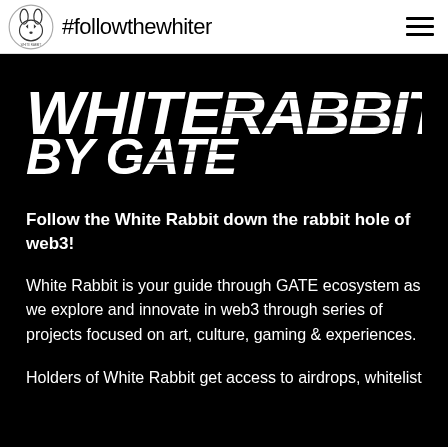#followthewhiter
[Figure (logo): WHITE RABBIT BY GATE logotype in large bold distressed/glitch white text on black background]
Follow the White Rabbit down the rabbit hole of web3!
White Rabbit is your guide through GATE ecosystem as we explore and innovate in web3 through series of projects focused on art, culture, gaming & experiences.
Holders of White Rabbit get access to airdrops, whitelist